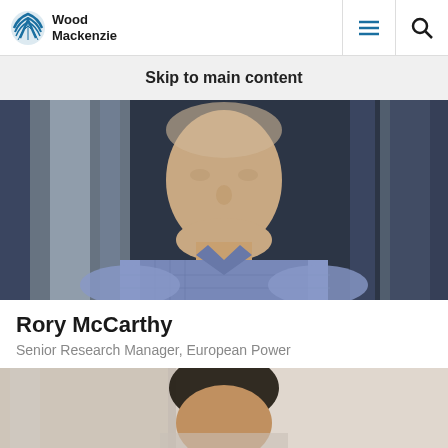Wood Mackenzie
Skip to main content
[Figure (photo): Professional headshot of Rory McCarthy, a man in a blue/purple check shirt, photographed against a blurred office background with large windows]
Rory McCarthy
Senior Research Manager, European Power
[Figure (photo): Professional headshot of a second person, a man with dark short hair, partially visible, photographed against a light office background]